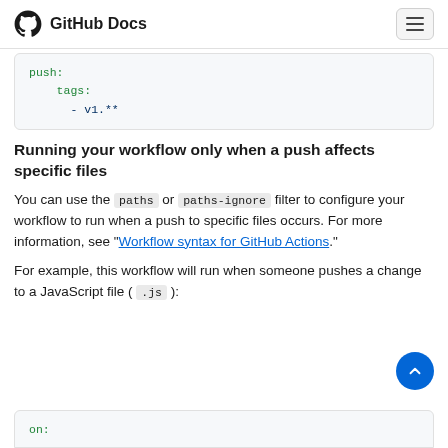GitHub Docs
push:
    tags:
      - v1.**
Running your workflow only when a push affects specific files
You can use the `paths` or `paths-ignore` filter to configure your workflow to run when a push to specific files occurs. For more information, see "Workflow syntax for GitHub Actions".
For example, this workflow will run when someone pushes a change to a JavaScript file ( .js ):
on: